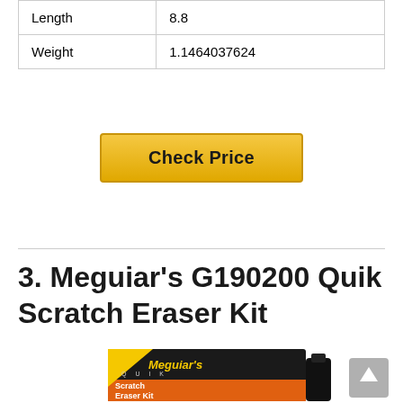| Length | 8.8 |
| Weight | 1.1464037624 |
[Figure (other): Golden 'Check Price' button with dark border and bold black text]
3. Meguiar's G190200 Quik Scratch Eraser Kit
[Figure (photo): Meguiar's G190200 Quik Scratch Eraser Kit product box and bottle. Black and orange box with Meguiar's logo, labeled QUIK Scratch Eraser Kit Fine Scratch & Blemish Remover. A black bottle is visible next to the box.]